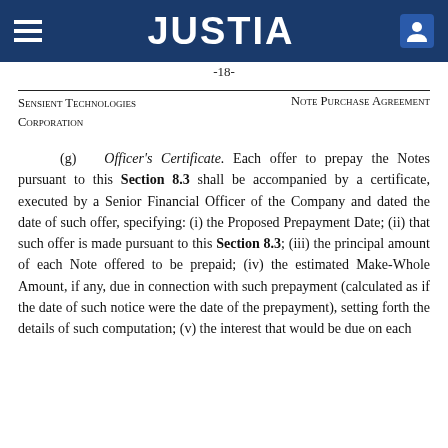JUSTIA
-18-
Sensient Technologies Corporation
Note Purchase Agreement
(g) Officer's Certificate. Each offer to prepay the Notes pursuant to this Section 8.3 shall be accompanied by a certificate, executed by a Senior Financial Officer of the Company and dated the date of such offer, specifying: (i) the Proposed Prepayment Date; (ii) that such offer is made pursuant to this Section 8.3; (iii) the principal amount of each Note offered to be prepaid; (iv) the estimated Make-Whole Amount, if any, due in connection with such prepayment (calculated as if the date of such notice were the date of the prepayment), setting forth the details of such computation; (v) the interest that would be due on each